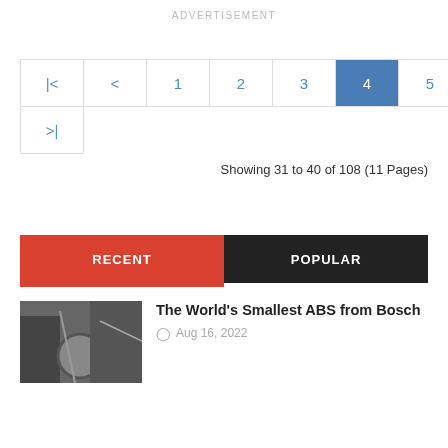ADVERTISEMENT
|< < 1 2 3 4 5 6 7 8 9 > >|
Showing 31 to 40 of 108 (11 Pages)
RECENT  POPULAR
The World's Smallest ABS from Bosch
Aug 16, 2022